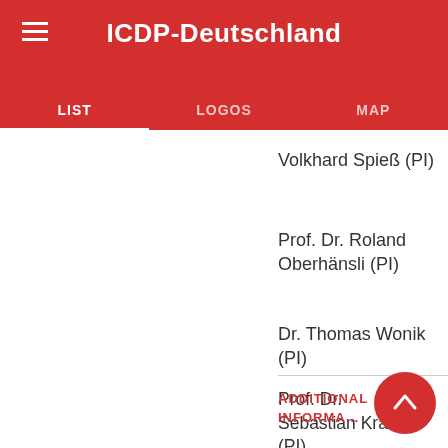ICDP-Deutschland
LIST | LOGOS | MAP
Volkhard Spieß (PI)
Prof. Dr. Roland Oberhänsli (PI)
Dr. Thomas Wonik (PI)
Prof. Dr. Sebastian Krastel (PI)
ADDITIONAL INFORMATION